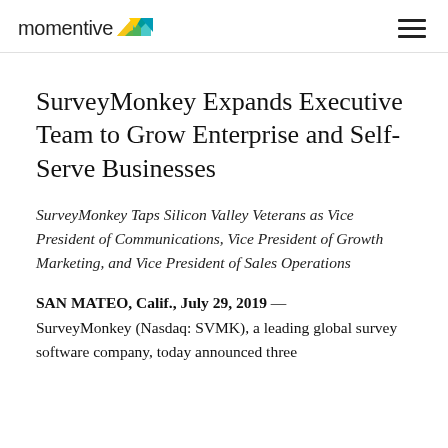[Figure (logo): Momentive logo with yellow and teal bird/arrow icon and wordmark 'momentive']
SurveyMonkey Expands Executive Team to Grow Enterprise and Self-Serve Businesses
SurveyMonkey Taps Silicon Valley Veterans as Vice President of Communications, Vice President of Growth Marketing, and Vice President of Sales Operations
SAN MATEO, Calif., July 29, 2019 — SurveyMonkey (Nasdaq: SVMK), a leading global survey software company, today announced three
momentive